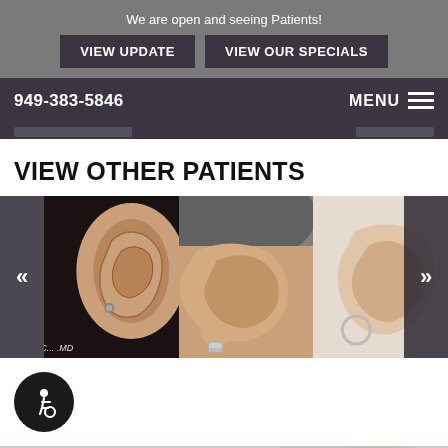We are open and seeing Patients!
VIEW UPDATE
VIEW OUR SPECIALS
949-383-5846
MENU
VIEW OTHER PATIENTS
[Figure (photo): Three ear surgery before/after patient photos shown in a carousel; left arrow and right arrow navigation buttons visible. First image shows an ear close-up on dark background with watermark text, second shows an ear with curly hair visible, third shows an ear on light background.]
[Figure (illustration): Accessibility wheelchair icon button, dark circular button]
CONTACT US
949-383-5846